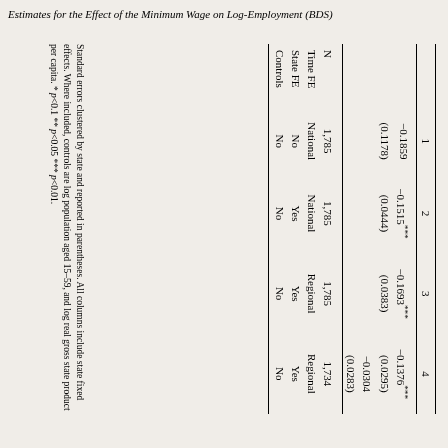Estimates for the Effect of the Minimum Wage on Log-Employment (BDS)
|  | 1 | 2 | 3 | 4 |
| --- | --- | --- | --- | --- |
| Log Min. Wage | −0.1859 | −0.1515*** | −0.1693*** | −0.1376*** |
|  | (0.1178) | (0.0444) | (0.0383) | (0.0295) |
| Log Min. Wage × Post |  |  |  | −0.0304 |
|  |  |  |  | (0.0283) |
| N | 1,785 | 1,785 | 1,785 | 1,734 |
| Time FE | National | National | Regional | Regional |
| State FE | No | Yes | Yes | Yes |
| Controls | No | No | No | No |
Standard errors clustered by state and reported in parentheses. All columns include state fixed effects. Where included, controls are log population aged 15–59, and log real gross state product per capita. * p<0.1 ** p<0.05 *** p<0.01.